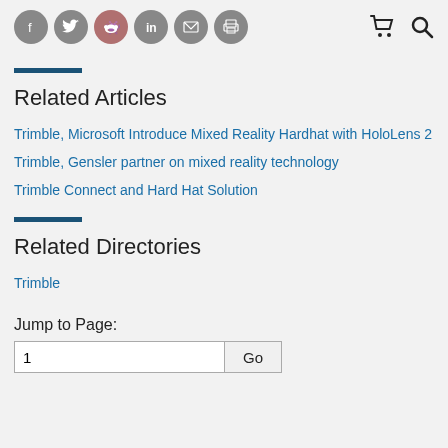Social share icons and navigation icons
Related Articles
Trimble, Microsoft Introduce Mixed Reality Hardhat with HoloLens 2
Trimble, Gensler partner on mixed reality technology
Trimble Connect and Hard Hat Solution
Related Directories
Trimble
Jump to Page: